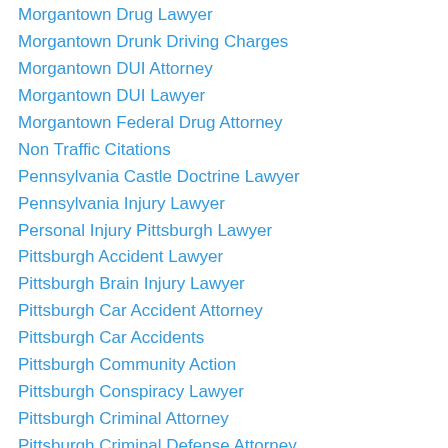Morgantown Drug Lawyer
Morgantown Drunk Driving Charges
Morgantown DUI Attorney
Morgantown DUI Lawyer
Morgantown Federal Drug Attorney
Non Traffic Citations
Pennsylvania Castle Doctrine Lawyer
Pennsylvania Injury Lawyer
Personal Injury Pittsburgh Lawyer
Pittsburgh Accident Lawyer
Pittsburgh Brain Injury Lawyer
Pittsburgh Car Accident Attorney
Pittsburgh Car Accidents
Pittsburgh Community Action
Pittsburgh Conspiracy Lawyer
Pittsburgh Criminal Attorney
Pittsburgh Criminal Defense Attorney
Pittsburgh Criminal Defense Lawyer
Pittsburgh Criminal Defense News
Pittsburgh Criminal Lawyer